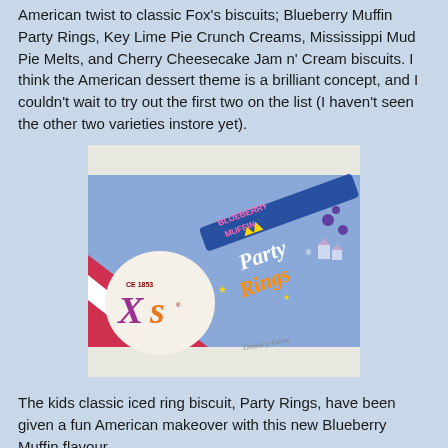American twist to classic Fox's biscuits; Blueberry Muffin Party Rings, Key Lime Pie Crunch Creams, Mississippi Mud Pie Melts, and Cherry Cheesecake Jam n' Cream biscuits. I think the American dessert theme is a brilliant concept, and I couldn't wait to try out the first two on the list (I haven't seen the other two varieties instore yet).
[Figure (photo): A close-up photo of a Fox's Blueberry Muffin Party Rings biscuit packet. The packaging is blue with the Fox's logo (CE 1853, Xs) on the left and the Party Rings branding in colorful script on the right. The words 'BLUEBERRY MUFFIN' are printed in pink/purple text. A watermark reads 'Grocery Gems' in the bottom right.]
The kids classic iced ring biscuit, Party Rings, have been given a fun American makeover with this new Blueberry Muffin flavour.